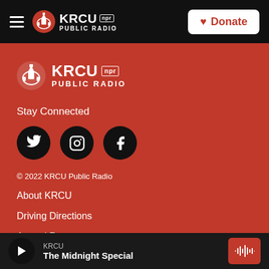KRCU NPR PUBLIC RADIO | Donate
[Figure (logo): KRCU NPR Public Radio logo with building icon, white on red background]
Stay Connected
[Figure (infographic): Three social media icons: Twitter (bird), Instagram (camera), Facebook (f) — black circles on red background]
© 2022 KRCU Public Radio
About KRCU
Driving Directions
Annual Reports
KRCU
The Midnight Special